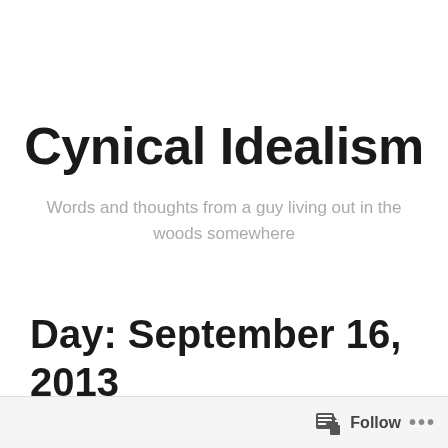Cynical Idealism
Words and thoughts from a guy living out in the woods somewhere
Day: September 16, 2013
My Take On The 10 Most
Follow ...